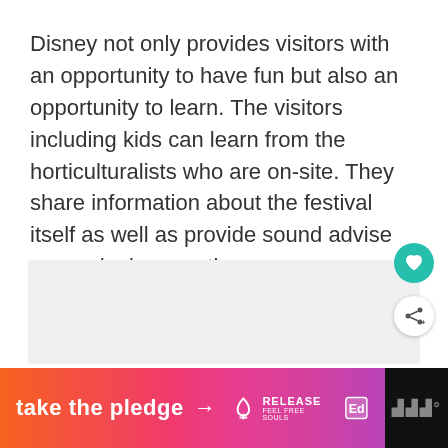Disney not only provides visitors with an opportunity to have fun but also an opportunity to learn. The visitors including kids can learn from the horticulturalists who are on-site. They share information about the festival itself as well as provide sound advise on gardening practices.
[Figure (other): Gray placeholder rectangle for an advertisement or embedded content]
[Figure (other): Bottom banner ad reading 'take the pledge' with arrow, Release logo, and MW logo on dark background]